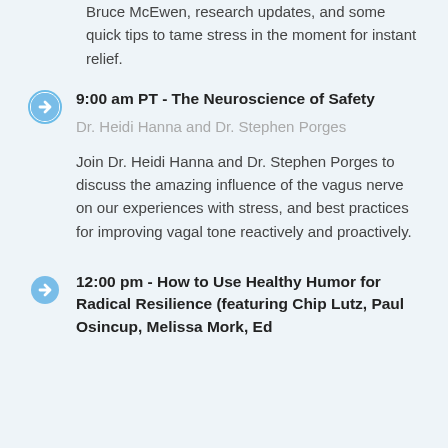Bruce McEwen, research updates, and some quick tips to tame stress in the moment for instant relief.
9:00 am PT - The Neuroscience of Safety
Dr. Heidi Hanna and Dr. Stephen Porges
Join Dr. Heidi Hanna and Dr. Stephen Porges to discuss the amazing influence of the vagus nerve on our experiences with stress, and best practices for improving vagal tone reactively and proactively.
12:00 pm - How to Use Healthy Humor for Radical Resilience (featuring Chip Lutz, Paul Osincup, Melissa Mork, Ed